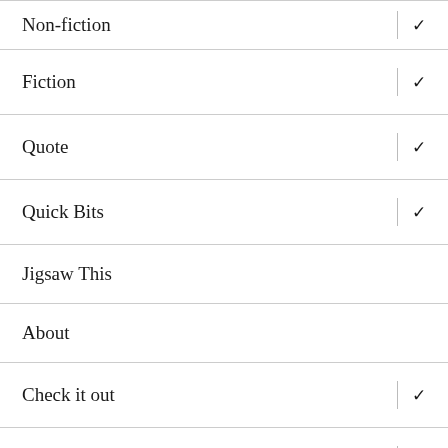Non-fiction
Fiction
Quote
Quick Bits
Jigsaw This
About
Check it out
Dealing with Time
Labyrinths
The difference between a prophet, a false prophet,